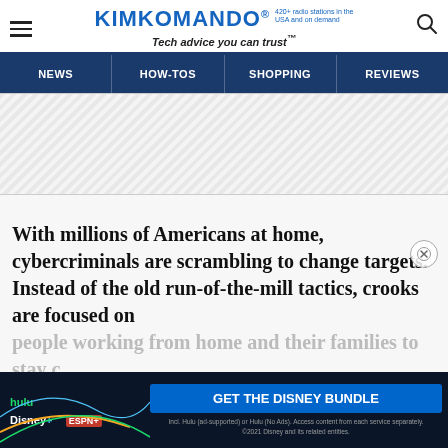KIMKOMANDO® 420+ radio stations in the USA and on demand — Tech advice you can trust™
NEWS | HOW-TOS | SHOPPING | REVIEWS
[Figure (other): Gray diagonal striped advertisement placeholder banner]
With millions of Americans at home, cybercriminals are scrambling to change targets. Instead of the old run-of-the-mill tactics, crooks are focused on people working from home and their families to stay c…
[Figure (other): Disney Bundle advertisement banner with Hulu, Disney+, ESPN+ logos and GET THE DISNEY BUNDLE call to action button. Fine print: Incl. Hulu (ad-supported) or Hulu (No Ads). Access content from each service separately. ©2021 Disney and its related entities.]